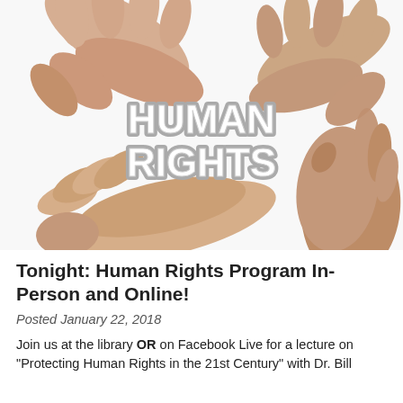[Figure (photo): Four human hands arranged in a circle on a white background, with text 'HUMAN RIGHTS' in bold white block letters with gray outline in the center of the hands.]
Tonight: Human Rights Program In-Person and Online!
Posted January 22, 2018
Join us at the library OR on Facebook Live for a lecture on "Protecting Human Rights in the 21st Century" with Dr. Bill